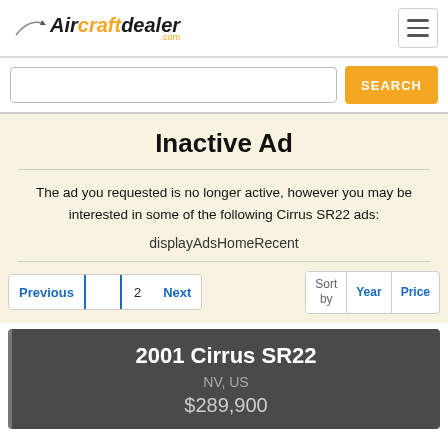AirCraftdealer.com
Inactive Ad
The ad you requested is no longer active, however you may be interested in some of the following Cirrus SR22 ads:
displayAdsHomeRecent
Previous | 1 | 2 | Next | Sort by | Year | Price
2001 Cirrus SR22
NV, US
$289,900